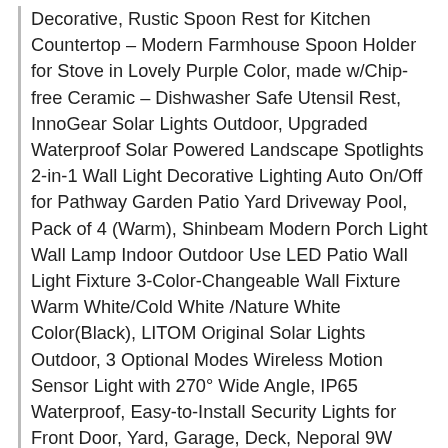Decorative, Rustic Spoon Rest for Kitchen Countertop – Modern Farmhouse Spoon Holder for Stove in Lovely Purple Color, made w/Chip-free Ceramic – Dishwasher Safe Utensil Rest, InnoGear Solar Lights Outdoor, Upgraded Waterproof Solar Powered Landscape Spotlights 2-in-1 Wall Light Decorative Lighting Auto On/Off for Pathway Garden Patio Yard Driveway Pool, Pack of 4 (Warm), Shinbeam Modern Porch Light Wall Lamp Indoor Outdoor Use LED Patio Wall Light Fixture 3-Color-Changeable Wall Fixture Warm White/Cold White /Nature White Color(Black), LITOM Original Solar Lights Outdoor, 3 Optional Modes Wireless Motion Sensor Light with 270° Wide Angle, IP65 Waterproof, Easy-to-Install Security Lights for Front Door, Yard, Garage, Deck, Neporal 9W LED Green Light Bulb 1PK, A19 E26 Base Green Colored Light Bulb, Colorful Decorative Light Bulb for Home Lighting, Holiday Lighting, Christmas Decoration, DII Durable Trapezoid Woven Nylon Storage Bin or Basket for Organizing Your Home, Office, or Closets (Large Basket - 13x15x10") Gray - Set of 2, ROSYSKY Modern Outdoor Wall Lamp LED Front Porch Wall Lamp Waterproof Outdoor Wall Lamp 20W 3000K Suitable for Porch, Hotel, Courtyard, Passage, CRLight 2W LED Edison Bulb 4000K Daylight White, 20W Equivalent